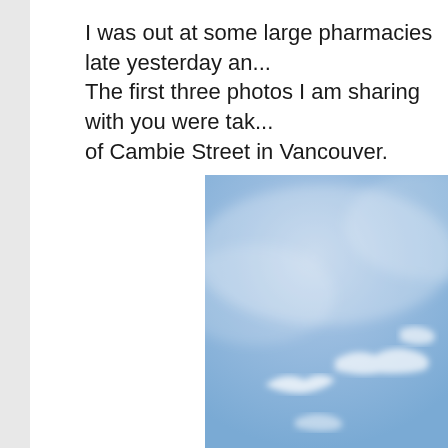I was out at some large pharmacies late yesterday an... The first three photos I am sharing with you were tak... of Cambie Street in Vancouver.
[Figure (photo): A photo of a blue sky with wispy white clouds, taken outdoors near Cambie Street in Vancouver.]